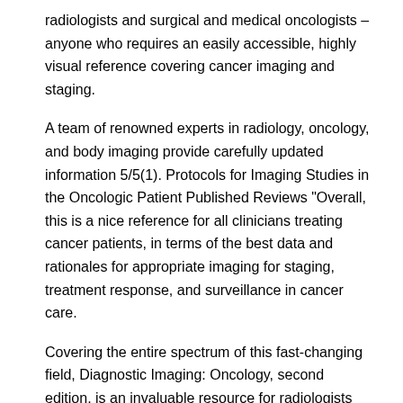radiologists and surgical and medical oncologists – anyone who requires an easily accessible, highly visual reference covering cancer imaging and staging.
A team of renowned experts in radiology, oncology, and body imaging provide carefully updated information 5/5(1). Protocols for Imaging Studies in the Oncologic Patient Published Reviews "Overall, this is a nice reference for all clinicians treating cancer patients, in terms of the best data and rationales for appropriate imaging for staging, treatment response, and surveillance in cancer care.
Covering the entire spectrum of this fast-changing field, Diagnostic Imaging: Oncology, second edition, is an invaluable resource for radiologists and surgical and medical oncologists-anyone who requires an easily accessible, highly visual reference covering cancer imaging and staging.
A team of renowned experts in radiology, oncology, and body imaging provide carefully updated information Pages: This new handbook is designed to provide practical, useful information for anyone involved in interpreting cancer imaging.